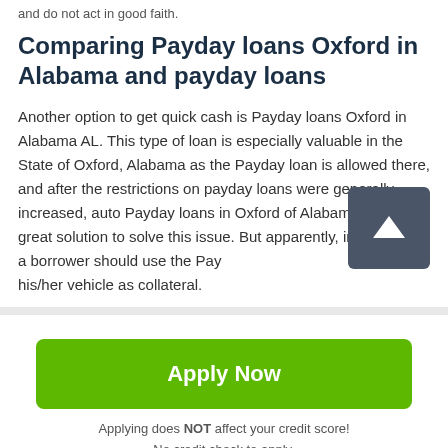and do not act in good faith.
Comparing Payday loans Oxford in Alabama and payday loans
Another option to get quick cash is Payday loans Oxford in Alabama AL. This type of loan is especially valuable in the State of Oxford, Alabama as the Payday loan is allowed there, and after the restrictions on payday loans were generally increased, auto Payday loans in Oxford of Alabama were a great solution to solve this issue. But apparently, in this case, a borrower should use the Pay... on his/her vehicle as collateral.
[Figure (other): Dark grey scroll-to-top button with upward arrow icon]
Apply Now
Applying does NOT affect your credit score!
No credit check to apply.